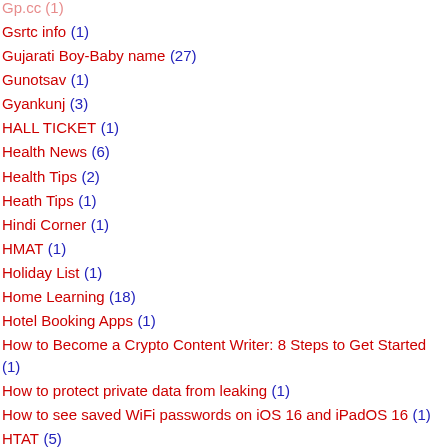Gsrtc info (1)
Gujarati Boy-Baby name (27)
Gunotsav (1)
Gyankunj (3)
HALL TICKET (1)
Health News (6)
Health Tips (2)
Heath Tips (1)
Hindi Corner (1)
HMAT (1)
Holiday List (1)
Home Learning (18)
Hotel Booking Apps (1)
How to Become a Crypto Content Writer: 8 Steps to Get Started (1)
How to protect private data from leaking (1)
How to see saved WiFi passwords on iOS 16 and iPadOS 16 (1)
HTAT (5)
INCOME TAX (2)